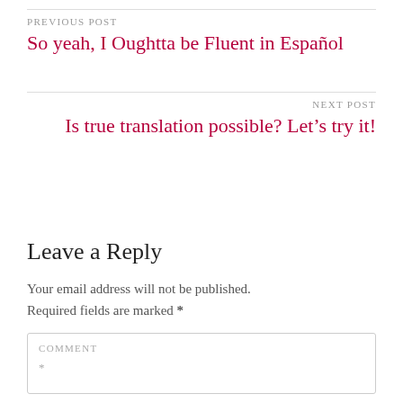PREVIOUS POST
So yeah, I Oughtta be Fluent in Español
NEXT POST
Is true translation possible? Let's try it!
Leave a Reply
Your email address will not be published. Required fields are marked *
COMMENT *